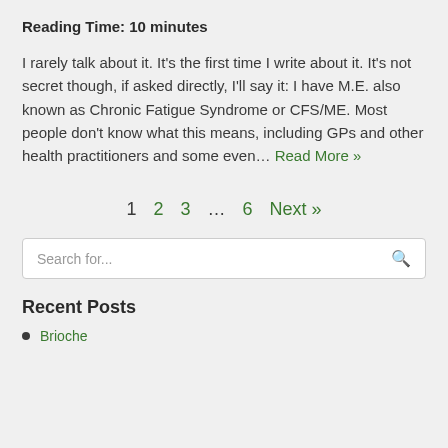Reading Time: 10 minutes
I rarely talk about it. It's the first time I write about it. It's not secret though, if asked directly, I'll say it: I have M.E. also known as Chronic Fatigue Syndrome or CFS/ME. Most people don't know what this means, including GPs and other health practitioners and some even… Read More »
1  2  3  …  6  Next »
Search for...
Recent Posts
Brioche